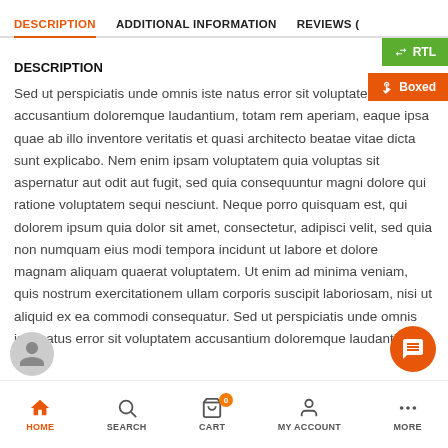DESCRIPTION | ADDITIONAL INFORMATION | REVIEWS (
DESCRIPTION
Sed ut perspiciatis unde omnis iste natus error sit voluptatem accusantium doloremque laudantium, totam rem aperiam, eaque ipsa quae ab illo inventore veritatis et quasi architecto beatae vitae dicta sunt explicabo. Nem enim ipsam voluptatem quia voluptas sit aspernatur aut odit aut fugit, sed quia consequuntur magni dolore qui ratione voluptatem sequi nesciunt. Neque porro quisquam est, qui dolorem ipsum quia dolor sit amet, consectetur, adipisci velit, sed quia non numquam eius modi tempora incidunt ut labore et dolore magnam aliquam quaerat voluptatem. Ut enim ad minima veniam, quis nostrum exercitationem ullam corporis suscipit laboriosam, nisi ut aliquid ex ea commodi consequatur. Sed ut perspiciatis unde omnis iste natus error sit voluptatem accusantium doloremque laudantium, tot
HOME | SEARCH | CART | MY ACCOUNT | MORE